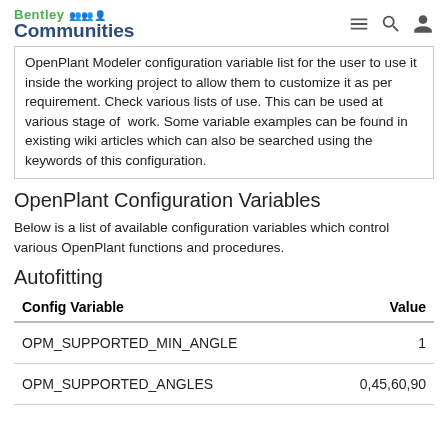Bentley Communities
OpenPlant Modeler configuration variable list for the user to use it inside the working project to allow them to customize it as per requirement. Check various lists of use. This can be used at various stage of work. Some variable examples can be found in existing wiki articles which can also be searched using the keywords of this configuration.
OpenPlant Configuration Variables
Below is a list of available configuration variables which control various OpenPlant functions and procedures.
Autofitting
| Config Variable | Value |
| --- | --- |
| OPM_SUPPORTED_MIN_ANGLE | 1 |
| OPM_SUPPORTED_ANGLES | 0,45,60,90 |